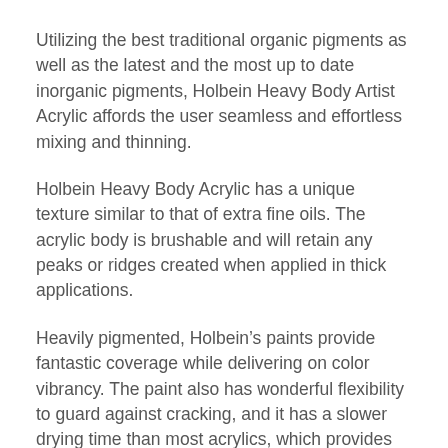Utilizing the best traditional organic pigments as well as the latest and the most up to date inorganic pigments, Holbein Heavy Body Artist Acrylic affords the user seamless and effortless mixing and thinning.
Holbein Heavy Body Acrylic has a unique texture similar to that of extra fine oils. The acrylic body is brushable and will retain any peaks or ridges created when applied in thick applications.
Heavily pigmented, Holbein’s paints provide fantastic coverage while delivering on color vibrancy. The paint also has wonderful flexibility to guard against cracking, and it has a slower drying time than most acrylics, which provides more time for wet-on-wet painting.
With its longer working time, extensive color selection, superior covering power, enhanced lightfast ratings and